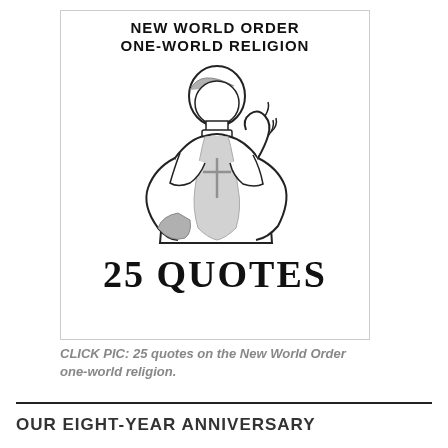[Figure (illustration): A framed image containing bold stencil-style text 'NEW WORLD ORDER ONE-WORLD RELIGION' at top, a line drawing of a pope figure in vestments making a blessing gesture with one hand and holding a cross, and large bold text '25 QUOTES' at bottom.]
CLICK PIC: 25 quotes on the New World Order one-world religion.
OUR EIGHT-YEAR ANNIVERSARY